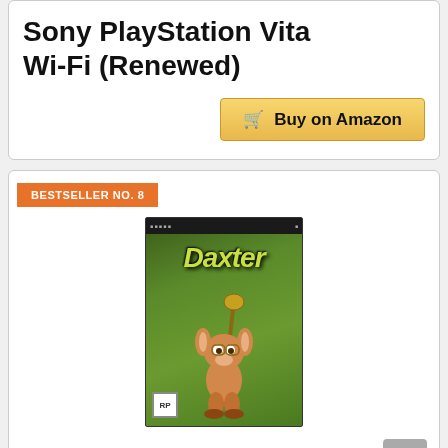Sony PlayStation Vita Wi-Fi (Renewed)
[Figure (other): Buy on Amazon button with shopping cart icon]
BESTSELLER NO. 8
[Figure (photo): Daxter PSP game cover art showing the character Daxter holding a weapon in a green jungle environment]
Daxter PSP